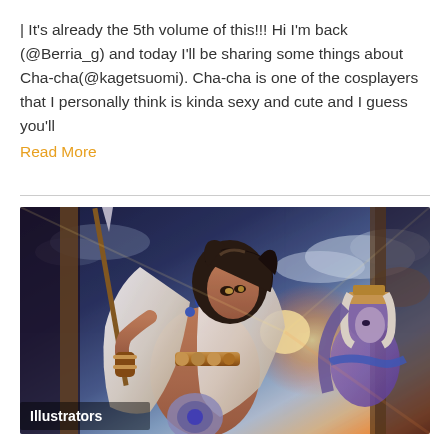| It's already the 5th volume of this!!! Hi I'm back (@Berria_g) and today I'll be sharing some things about Cha-cha(@kagetsuomi). Cha-cha is one of the cosplayers that I personally think is kinda sexy and cute and I guess you'll Read More
[Figure (illustration): Anime-style illustration showing two fantasy characters in armor with white cloaks and gold accents. The main character has dark hair and is holding a spear/lance. A second character with long purple/blue hair and Egyptian-style headdress is visible in the background right. Dramatic sky with orange/golden sunset and blue clouds in background. 'Illustrators' text label in bottom-left corner.]